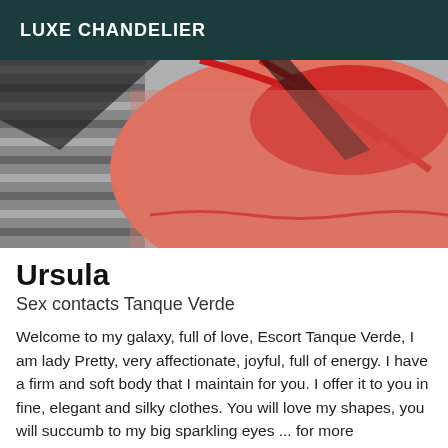LUXE CHANDELIER
[Figure (photo): Close-up photo of a person wearing a red bra/lingerie top against a striped fabric background]
Ursula
Sex contacts Tanque Verde
Welcome to my galaxy, full of love, Escort Tanque Verde, I am lady Pretty, very affectionate, joyful, full of energy. I have a firm and soft body that I maintain for you. I offer it to you in fine, elegant and silky clothes. You will love my shapes, you will succumb to my big sparkling eyes ... for more information send me a small text indicating their age, to my phone number, and please indicate *Viewed